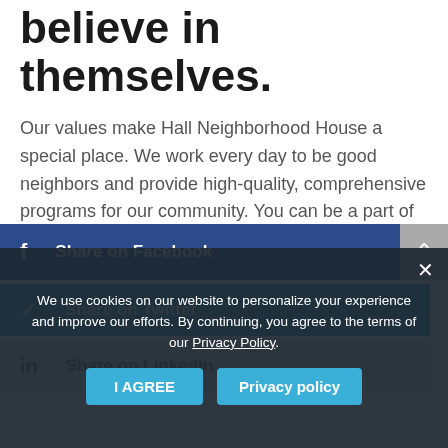believe in themselves.
Our values make Hall Neighborhood House a special place. We work every day to be good neighbors and provide high-quality, comprehensive programs for our community. You can be a part of our story and join us in believing in people by supporting our mission today!
[Figure (screenshot): Share on Facebook button (dark blue) with Facebook icon]
[Figure (screenshot): Cookie consent overlay with I AGREE and Privacy policy buttons, and close X button]